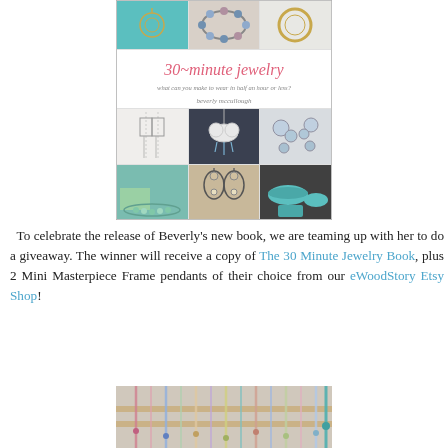[Figure (photo): Book cover of '30~minute jewelry' by Beverly McCullough, showing a collage of jewelry photos including earrings, necklaces, pendants, and bracelets on teal/turquoise backgrounds]
To celebrate the release of Beverly's new book, we are teaming up with her to do a giveaway. The winner will receive a copy of The 30 Minute Jewelry Book, plus 2 Mini Masterpiece Frame pendants of their choice from our eWoodStory Etsy Shop!
[Figure (photo): Photo showing colorful beaded necklaces and jewelry displayed on a rack or board with pastel colors]